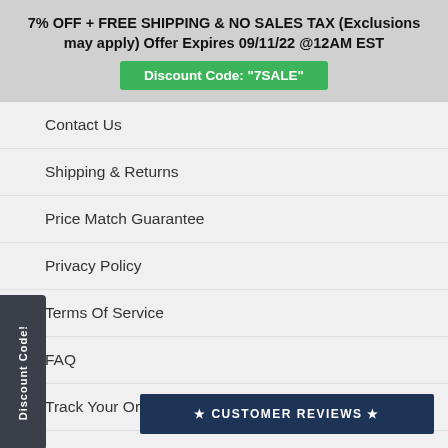7% OFF + FREE SHIPPING & NO SALES TAX (Exclusions may apply) Offer Expires 09/11/22 @12AM EST
Discount Code: "7SALE"
Contact Us
Shipping & Returns
Price Match Guarantee
Privacy Policy
Terms Of Service
FAQ
Track Your Order
Get In Touch
info@machi...
(833) 767-4...
Discount Code!
★ CUSTOMER REVIEWS ★